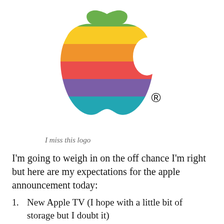[Figure (logo): Retro rainbow Apple logo with registered trademark symbol]
I miss this logo
I'm going to weigh in on the off chance I'm right but here are my expectations for the apple announcement today:
New Apple TV (I hope with a little bit of storage but I doubt it)
iTV Apple TV with integrated TV, probably